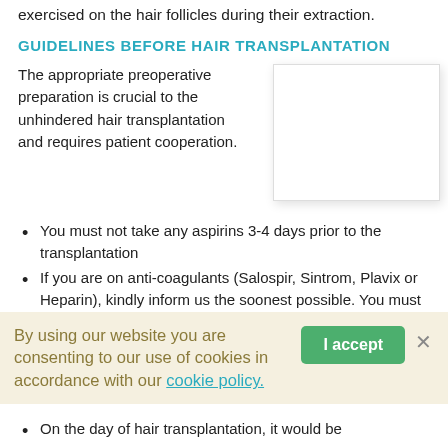exercised on the hair follicles during their extraction.
GUIDELINES BEFORE HAIR TRANSPLANTATION
The appropriate preoperative preparation is crucial to the unhindered hair transplantation and requires patient cooperation.
[Figure (photo): White rectangular image placeholder on right side of text]
You must not take any aspirins 3-4 days prior to the transplantation
If you are on anti-coagulants (Salospir, Sintrom, Plavix or Heparin), kindly inform us the soonest possible. You must stop taking your anti-coagulants at least a week prior to the
By using our website you are consenting to our use of cookies in accordance with our cookie policy.
On the day of hair transplantation, it would be